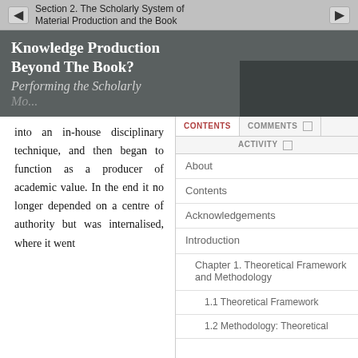Section 2. The Scholarly System of Material Production and the Book
Knowledge Production Beyond The Book?
Performing the Scholarly Monograph in Contemporary...
into an in-house disciplinary technique, and then began to function as a producer of academic value. In the end it no longer depended on a centre of authority but was internalised, where it went
CONTENTS
COMMENTS
ACTIVITY
About
Contents
Acknowledgements
Introduction
Chapter 1. Theoretical Framework and Methodology
1.1 Theoretical Framework
1.2 Methodology: Theoretical